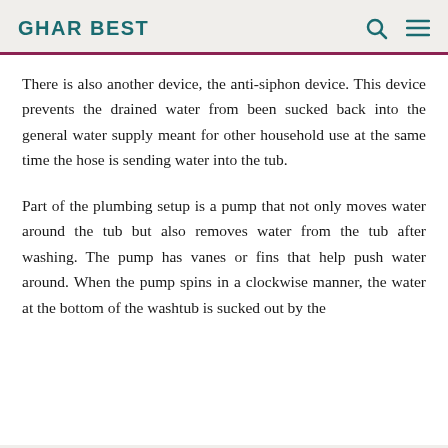GHAR BEST
There is also another device, the anti-siphon device. This device prevents the drained water from been sucked back into the general water supply meant for other household use at the same time the hose is sending water into the tub.
Part of the plumbing setup is a pump that not only moves water around the tub but also removes water from the tub after washing. The pump has vanes or fins that help push water around. When the pump spins in a clockwise manner, the water at the bottom of the washtub is sucked out by the